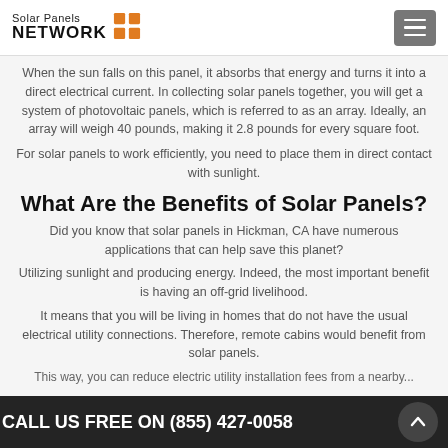Solar Panels NETWORK
When the sun falls on this panel, it absorbs that energy and turns it into a direct electrical current. In collecting solar panels together, you will get a system of photovoltaic panels, which is referred to as an array. Ideally, an array will weigh 40 pounds, making it 2.8 pounds for every square foot.
For solar panels to work efficiently, you need to place them in direct contact with sunlight.
What Are the Benefits of Solar Panels?
Did you know that solar panels in Hickman, CA have numerous applications that can help save this planet?
Utilizing sunlight and producing energy. Indeed, the most important benefit is having an off-grid livelihood.
It means that you will be living in homes that do not have the usual electrical utility connections. Therefore, remote cabins would benefit from solar panels.
This way, you can reduce electric utility installation fees from a nearby...
CALL US FREE ON (855) 427-0058